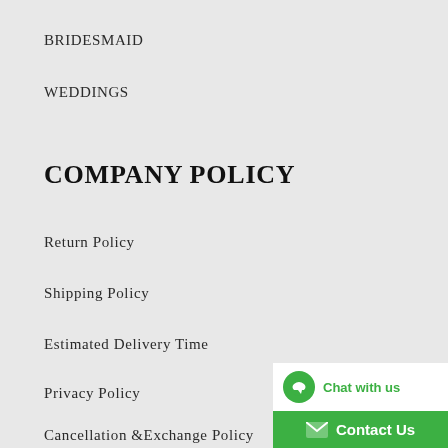BRIDESMAID
WEDDINGS
COMPANY POLICY
Return Policy
Shipping Policy
Estimated Delivery Time
Privacy Policy
Cancellation &Exchange Policy
[Figure (other): Chat with us / Contact Us widget with green background and phone/envelope icons]